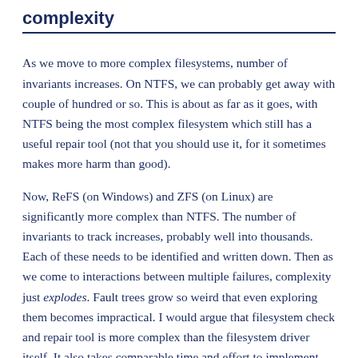complexity
As we move to more complex filesystems, number of invariants increases. On NTFS, we can probably get away with couple of hundred or so. This is about as far as it goes, with NTFS being the most complex filesystem which still has a useful repair tool (not that you should use it, for it sometimes makes more harm than good).
Now, ReFS (on Windows) and ZFS (on Linux) are significantly more complex than NTFS. The number of invariants to track increases, probably well into thousands. Each of these needs to be identified and written down. Then as we come to interactions between multiple failures, complexity just explodes. Fault trees grow so weird that even exploring them becomes impractical. I would argue that filesystem check and repair tool is more complex than the filesystem driver itself. It also takes comparable time and effort to implement, debug,